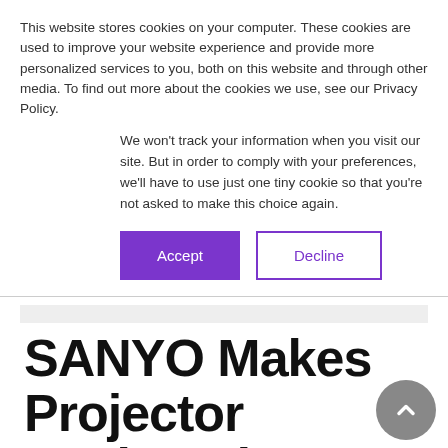This website stores cookies on your computer. These cookies are used to improve your website experience and provide more personalized services to you, both on this website and through other media. To find out more about the cookies we use, see our Privacy Policy.
We won't track your information when you visit our site. But in order to comply with your preferences, we'll have to use just one tiny cookie so that you're not asked to make this choice again.
[Figure (other): Two buttons: a filled purple 'Accept' button and an outlined purple 'Decline' button]
SANYO Makes Projector Designed to Run 24/7/365